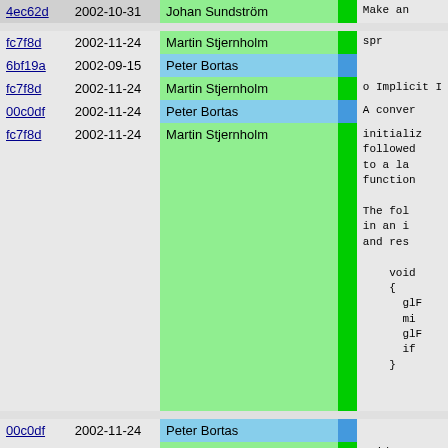| hash | date | author |  | content |
| --- | --- | --- | --- | --- |
| 4ec62d | 2002-10-31 | Johan Sundström |  | Make an |
| fc7f8d | 2002-11-24 | Martin Stjernholm |  | spr |
| 6bf19a | 2002-09-15 | Peter Bortas |  |  |
| fc7f8d | 2002-11-24 | Martin Stjernholm |  | o Implicit I |
| 00c0df | 2002-11-24 | Peter Bortas |  | A conver |
| fc7f8d | 2002-11-24 | Martin Stjernholm |  | initializ
followe
to a la
function

The fol
in an i
and res

    void
    {
      glF
      mi
      glF
      if
    } |
| 00c0df | 2002-11-24 | Peter Bortas |  |  |
| fc7f8d | 2002-11-24 | Martin Stjernholm |  | void
{ |